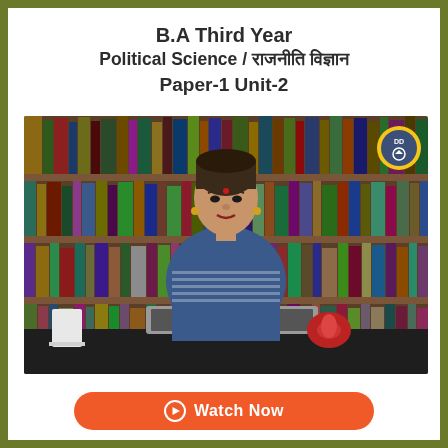B.A Third Year
Political Science / राजनीति विज्ञान
Paper-1 Unit-2
[Figure (photo): Video thumbnail showing a female professor in a blue sari seated at a desk with a laptop, in front of a bookshelf background. A DD (Doordarshan) logo appears in the top right of the video frame.]
Watch Now